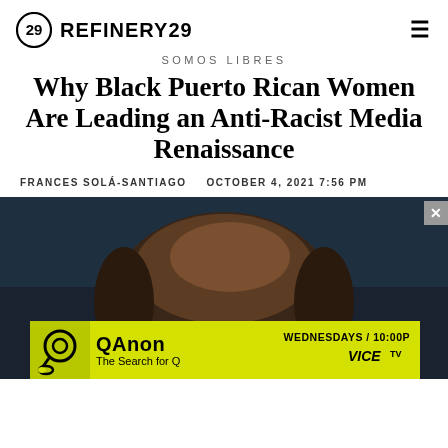REFINERY29
SOMOS LIBRES
Why Black Puerto Rican Women Are Leading an Anti-Racist Media Renaissance
FRANCES SOLÁ-SANTIAGO   OCTOBER 4, 2021 7:56 PM
[Figure (photo): Close-up photo of a person wearing sunglasses, shot from above showing the top of the head, with dark background]
[Figure (other): Advertisement banner for QAnon: The Search for Q on VICE TV — WEDNESDAYS / 10:00P, yellow and black background with show logo]